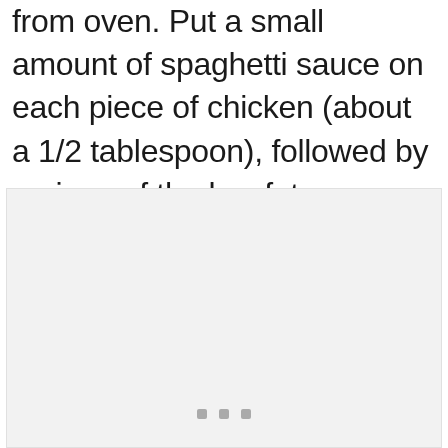from oven. Put a small amount of spaghetti sauce on each piece of chicken (about a 1/2 tablespoon), followed by a piece of the low fat mozzarella cheese. Put back in the oven for 5 minutes. Remove once your cheese has melted.
[Figure (photo): A light gray placeholder image box with three small gray square dots near the bottom center, indicating an image failed to load or is a placeholder.]